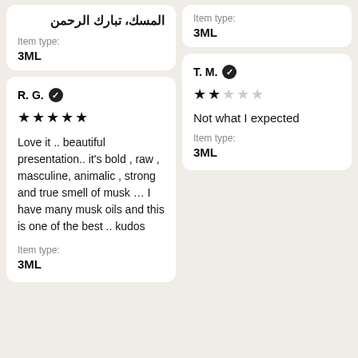المسك، تبارك الرحمن
Item type: 3ML
Item type: 3ML
R. G. ✓
★★★★★
Love it .. beautiful presentation.. it's bold , raw , masculine, animalic , strong and true smell of musk … I have many musk oils and this is one of the best .. kudos
Item type: 3ML
T. M. ✓
★★☆☆☆
Not what I expected
Item type: 3ML